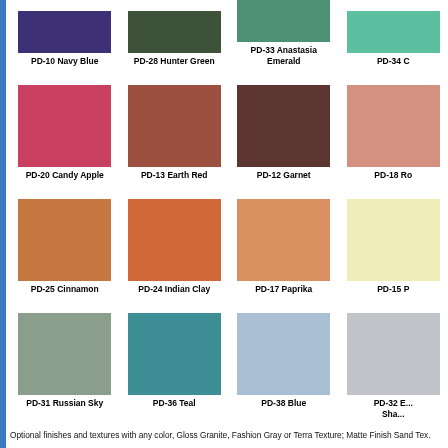[Figure (other): Color swatch grid showing paint/finish color options. Row 1 (partial, top-cropped): PD-10 Navy Blue (dark purple-blue), PD-28 Hunter Green (dark green), PD-33 Anastasia Emerald (medium green), PD-34 C... (partial, mint/teal). Row 2: PD-20 Candy Apple (red), PD-13 Earth Red (brown-red), PD-12 Garnet (dark brown), PD-18 Ro... (partial, salmon). Row 3: PD-25 Cinnamon (warm tan-orange), PD-24 Indian Clay (orange), PD-17 Paprika (light orange), PD-15 P... (partial, pale yellow). Row 4: PD-31 Russian Sky (gray-green), PD-36 Teal (teal), PD-38 Blue (light blue), PD-32 E... Sha... (partial, light gray).]
Optional finishes and textures with any color, Gloss Granite, Fashion Gray or Terra Texture; Matte Finish Sand Tex.